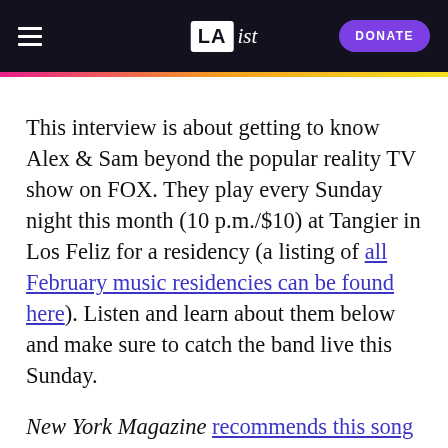LA ist | DONATE
This interview is about getting to know Alex & Sam beyond the popular reality TV show on FOX. They play every Sunday night this month (10 p.m./$10) at Tangier in Los Feliz for a residency (a listing of all February music residencies can be found here). Listen and learn about them below and make sure to catch the band live this Sunday.
New York Magazine recommends this song below, via LA Unerground's review. Listen as you read (more MP3s to listen to at the end of this interview)